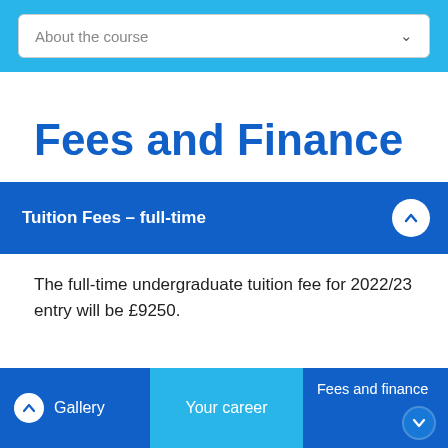About the course
Fees and Finance
Tuition Fees – full-time
The full-time undergraduate tuition fee for 2022/23 entry will be £9250.
Gallery | Your career | Fees and finance